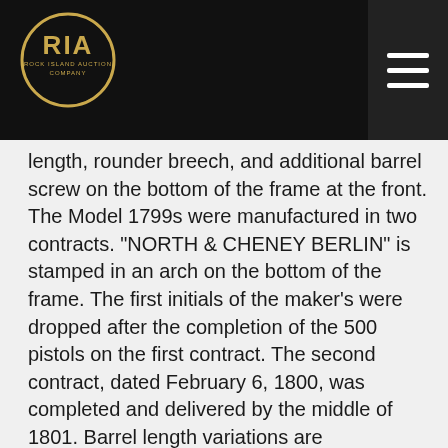[Figure (logo): RIA Rock Island Auction Company logo — gold oval with RIA text]
length, rounder breech, and additional barrel screw on the bottom of the frame at the front. The Model 1799s were manufactured in two contracts. "NORTH & CHENEY BERLIN" is stamped in an arch on the bottom of the frame. The first initials of the maker's were dropped after the completion of the 500 pistols on the first contract. The second contract, dated February 6, 1800, was completed and delivered by the middle of 1801. Barrel length variations are documented among the few surviving examples, and this example has a shorter barrel than many. The top of the barrel is stamped "V/US" ahead of the tang, and the underside has a deep "B" hallmark and "1" perpendicular to "65." The same numbers are also on left side of the breech plug and inside of the frame in the same